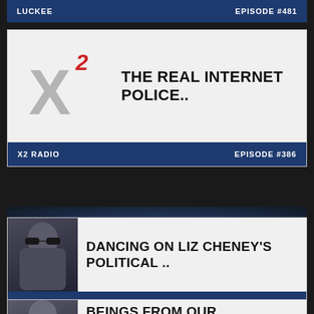LUCKEE — EPISODE #481
[Figure (screenshot): Podcast listing card: X2 Radio - THE REAL INTERNET POLICE.. Episode #386]
[Figure (screenshot): Podcast listing card: America's Evil Genius - DANCING ON LIZ CHENEY'S POLITICAL.. Episode #334]
[Figure (screenshot): Podcast listing card: BEINGS FROM OUR NIGHTMARES (partial)]